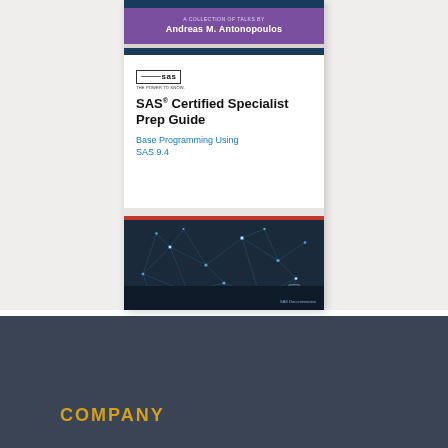[Figure (illustration): Book cover for 'SAS Certified Specialist Prep Guide: Base Programming Using SAS 9.4' by Andreas M. Antonopoulos. Top purple band with author name, white middle section with SAS logo and title, red stripe, dark navy bottom section with network/constellation graphic.]
COMPANY